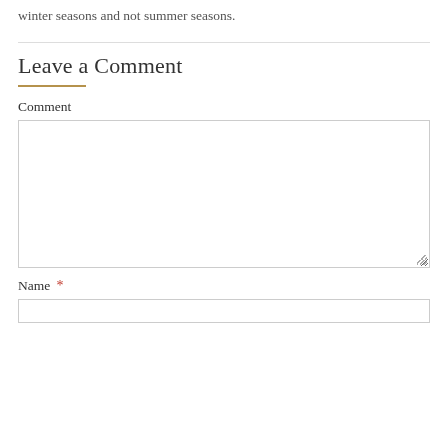winter seasons and not summer seasons.
Leave a Comment
Comment
[Figure (other): Large text area input box for comment entry]
Name *
[Figure (other): Single-line text input for name]